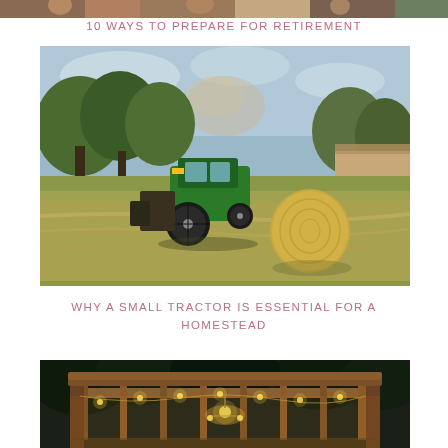[Figure (photo): Partial top strip of a photo — cropped people visible at top of page]
10 WAYS TO PREPARE FOR RETIREMENT
[Figure (photo): A green John Deere tractor baling hay in a field with trees in the background and a round hay bale to the right]
WHY A SMALL TRACTOR IS ESSENTIAL FOR A HOMESTEAD
[Figure (photo): A wooden pergola structure lit with string lights at dusk/night with trees in background]